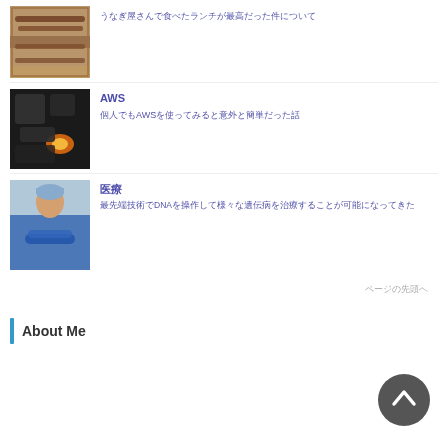[Figure (photo): Food item photo - grilled eel on tray]
うなぎ屋さんで食べたランチが最高だった件について
[Figure (photo): Charcoal/fire with glowing orange ember]
AWS
個人でもAWSを使ってみると意外と簡単だった話
[Figure (photo): Doctor/surgeon in blue scrubs with arms crossed]
医療
最先端技術でDNAを操作して様々な遺伝病を治療することが可能になってきた
ページの先頭へ
About Me